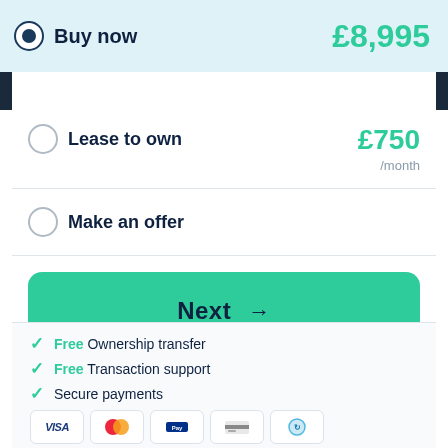Buy now £8,995
Lease to own £750 /month
Make an offer
Next →
✓ Free Ownership transfer
✓ Free Transaction support
✓ Secure payments
[Figure (other): Payment method icons: Visa, Mastercard, and others]